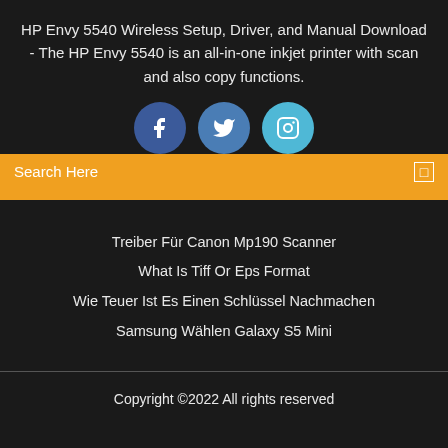HP Envy 5540 Wireless Setup, Driver, and Manual Download - The HP Envy 5540 is an all-in-one inkjet printer with scan and also copy functions.
[Figure (illustration): Three social media icon circles: Facebook (dark blue), Twitter (medium blue), Instagram (light blue), showing partial tops overlapping with the orange search bar below.]
Search Here
Treiber Für Canon Mp190 Scanner
What Is Tiff Or Eps Format
Wie Teuer Ist Es Einen Schlüssel Nachmachen
Samsung Wählen Galaxy S5 Mini
Copyright ©2022 All rights reserved